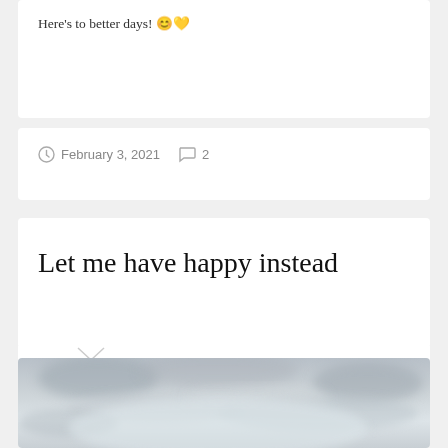Here's to better days! 😊💛
February 3, 2021   2
Let me have happy instead
[Figure (photo): A sky photo showing grey and white clouds with a soft, blurred appearance]